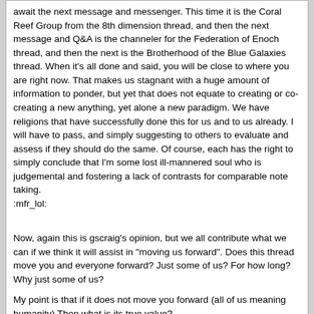await the next message and messenger. This time it is the Coral Reef Group from the 8th dimension thread, and then the next message and Q&A is the channeler for the Federation of Enoch thread, and then the next is the Brotherhood of the Blue Galaxies thread. When it's all done and said, you will be close to where you are right now. That makes us stagnant with a huge amount of information to ponder, but yet that does not equate to creating or co-creating a new anything, yet alone a new paradigm. We have religions that have successfully done this for us and to us already. I will have to pass, and simply suggesting to others to evaluate and assess if they should do the same. Of course, each has the right to simply conclude that I'm some lost ill-mannered soul who is judgemental and fostering a lack of contrasts for comparable note taking.
:mfr_lol:
Now, again this is gscraig's opinion, but we all contribute what we can if we think it will assist in "moving us forward". Does this thread move you and everyone forward? Just some of us? For how long? Why just some of us?
My point is that if it does not move you forward (all of us meaning humanity) Then what is its true value?
We can't co-create a new paradigm when we are being influenced and sometimes trapped by elements of the old.
GaiaLove
02-22-2010 05:34 PM